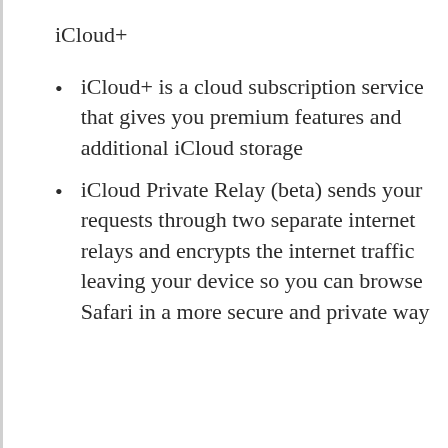iCloud+
iCloud+ is a cloud subscription service that gives you premium features and additional iCloud storage
iCloud Private Relay (beta) sends your requests through two separate internet relays and encrypts the internet traffic leaving your device so you can browse Safari in a more secure and private way